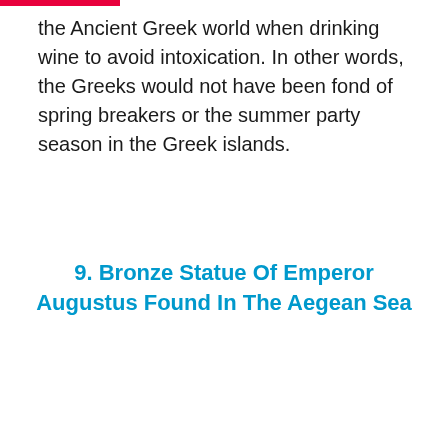the Ancient Greek world when drinking wine to avoid intoxication. In other words, the Greeks would not have been fond of spring breakers or the summer party season in the Greek islands.
9. Bronze Statue Of Emperor Augustus Found In The Aegean Sea